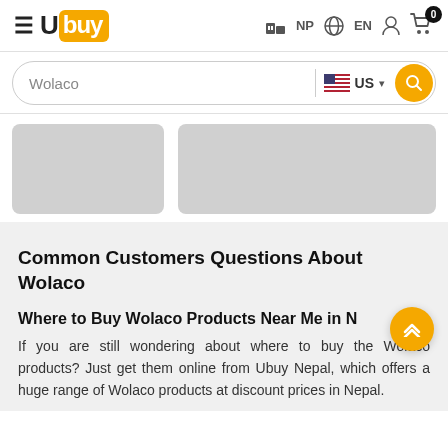Ubuy NP EN [cart: 0]
Wolaco  US
[Figure (screenshot): Two gray placeholder product card images side by side]
Common Customers Questions About Wolaco
Where to Buy Wolaco Products Near Me in Nepal?
If you are still wondering about where to buy the Wolaco products? Just get them online from Ubuy Nepal, which offers a huge range of Wolaco products at discount prices in Nepal.